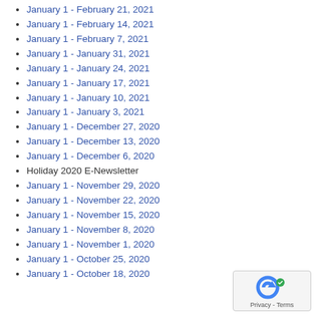January 1 - February 21, 2021
January 1 - February 14, 2021
January 1 - February 7, 2021
January 1 - January 31, 2021
January 1 - January 24, 2021
January 1 - January 17, 2021
January 1 - January 10, 2021
January 1 - January 3, 2021
January 1 - December 27, 2020
January 1 - December 13, 2020
January 1 - December 6, 2020
Holiday 2020 E-Newsletter
January 1 - November 29, 2020
January 1 - November 22, 2020
January 1 - November 15, 2020
January 1 - November 8, 2020
January 1 - November 1, 2020
January 1 - October 25, 2020
January 1 - October 18, 2020